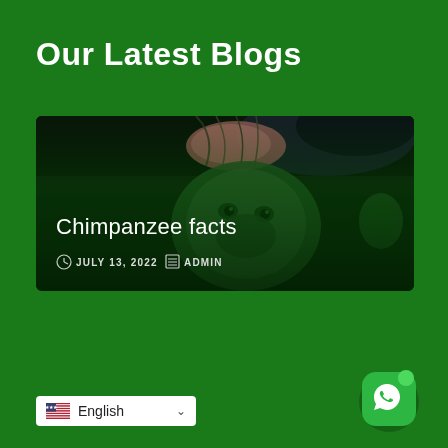Our Latest Blogs
[Figure (photo): Blog card showing a baby chimpanzee upside down with green tinted overlay. Title 'Chimpanzee facts', date 'JULY 13, 2022', author 'ADMIN'.]
Chimpanzee facts
JULY 13, 2022   ADMIN
[Figure (other): Language selector widget showing US flag and 'English' with dropdown arrow]
[Figure (other): WhatsApp floating button icon]